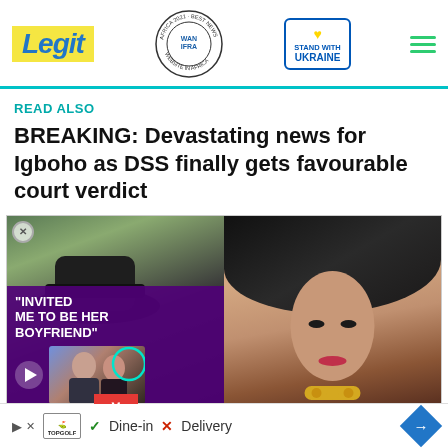Legit — WAN IFRA 2021 Best News Website in Africa — STAND WITH UKRAINE
READ ALSO
BREAKING: Devastating news for Igboho as DSS finally gets favourable court verdict
[Figure (photo): Left: person in hat with video overlay reading 'INVITED ME TO BE HER BOYFRIEND'; Right: woman in black headwrap with gold necklace]
[Figure (infographic): Advertisement bar with TopGolf logo, checkmark Dine-in, X Delivery, and blue diamond arrow icon]